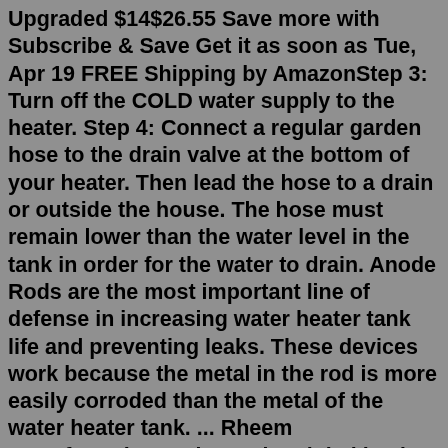Upgraded $14$26.55 Save more with Subscribe & Save Get it as soon as Tue, Apr 19 FREE Shipping by AmazonStep 3: Turn off the COLD water supply to the heater. Step 4: Connect a regular garden hose to the drain valve at the bottom of your heater. Then lead the hose to a drain or outside the house. The hose must remain lower than the water level in the tank in order for the water to drain. Anode Rods are the most important line of defense in increasing water heater tank life and preventing leaks. These devices work because the metal in the rod is more easily corroded than the metal of the water heater tank. ... Rheem Manufacturing ranks as the global leader in the manufacture of high-quality, sustainable, and innovative water ...22 New Water Heater Anode Rod Location. ... 20 Rheem Water Heater Anode Rod. ... 15 New Water Heater Xe40m06st45u1. PAGE 1. Use & Care Manual With Installation Instructions for the Installer Electric Residential Water Heaters Single and Double Element Models, Residential 20–55 Gallon The purpose of this manual is twofold: one, to